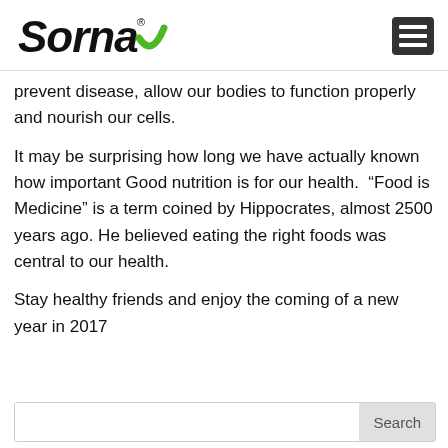[Figure (logo): Sorna logo with italic bold text and green checkmark/swoosh]
prevent disease, allow our bodies to function properly and nourish our cells.
It may be surprising how long we have actually known how important Good nutrition is for our health. “Food is Medicine” is a term coined by Hippocrates, almost 2500 years ago. He believed eating the right foods was central to our health.
Stay healthy friends and enjoy the coming of a new year in 2017